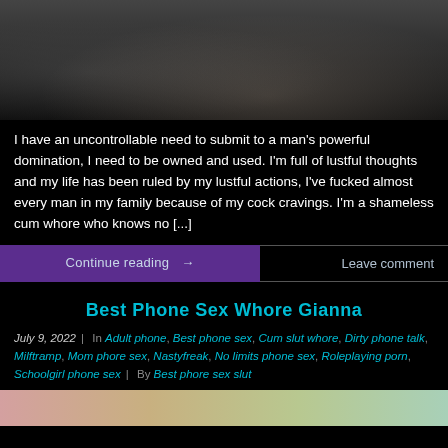[Figure (photo): Black and white photo of a woman in lingerie/stockings, partial view]
I have an uncontrollable need to submit to a man's powerful domination, I need to be owned and used. I'm full of lustful thoughts and my life has been ruled by my lustful actions, I've fucked almost every man in my family because of my cock cravings. I'm a shameless cum whore who knows no [...]
Continue reading →
Leave comment
Best Phone Sex Whore Gianna
July 9, 2022 | In Adult phone, Best phone sex, Cum slut whore, Dirty phone talk, Milftramp, Mom phore sex, Nastyfreak, No limits phone sex, Roleplaying porn, Schoolgirl phone sex | By Best phore sex slut
[Figure (photo): Colorful thumbnail strip at bottom of page]